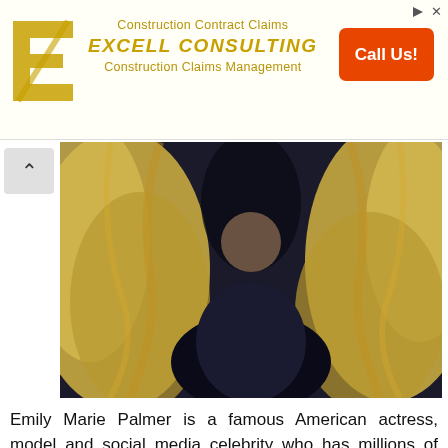[Figure (other): Advertisement banner for Excell Consulting showing logo, company name, 'Construction Contract Claims', 'Construction Claims Management' taglines, and an orange 'Call Us!' button]
[Figure (photo): Close-up photo of a woman with long blonde wavy hair, wearing a dark patterned wrap top, visible from shoulders up]
Emily Marie Palmer is a famous American actress, model and social media celebrity who has millions of fans around the world. If you are also one of them then you are at the right place where we are going to share everything about Emily Marie Palmer net worth, biography, wiki, age, height, salary, income, house, ...